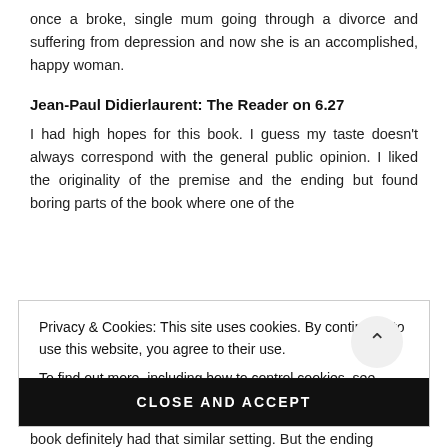once a broke, single mum going through a divorce and suffering from depression and now she is an accomplished, happy woman.
Jean-Paul Didierlaurent: The Reader on 6.27
I had high hopes for this book. I guess my taste doesn’t always correspond with the general public opinion. I liked the originality of the premise and the ending but found boring parts of the book where one of the
Privacy & Cookies: This site uses cookies. By continuing to use this website, you agree to their use.
To find out more, including how to control cookies, see here: Cookie Policy
CLOSE AND ACCEPT
book definitely had that similar setting. But the ending